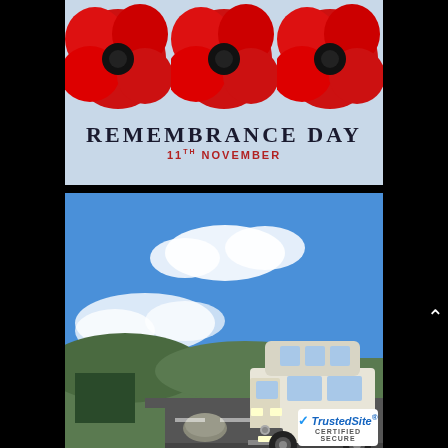[Figure (illustration): Remembrance Day graphic showing three large red poppies on a light blue/white background with text 'REMEMBRANCE DAY' and '11TH NOVEMBER' below]
[Figure (photo): Photograph of a white VW T4 high-top campervan parked on a road in a hilly Scottish or rural landscape under a blue sky with clouds. A TrustedSite certified secure badge is overlaid in the bottom right corner.]